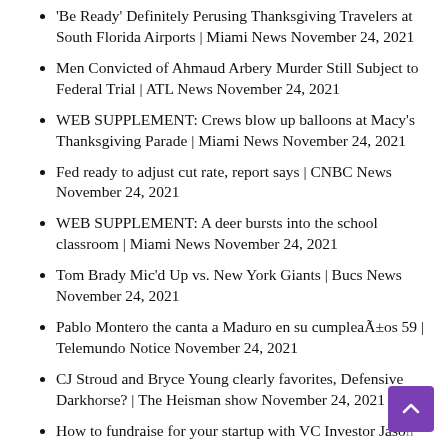'Be Ready' Definitely Perusing Thanksgiving Travelers at South Florida Airports | Miami News November 24, 2021
Men Convicted of Ahmaud Arbery Murder Still Subject to Federal Trial | ATL News November 24, 2021
WEB SUPPLEMENT: Crews blow up balloons at Macy's Thanksgiving Parade | Miami News November 24, 2021
Fed ready to adjust cut rate, report says | CNBC News November 24, 2021
WEB SUPPLEMENT: A deer bursts into the school classroom | Miami News November 24, 2021
Tom Brady Mic'd Up vs. New York Giants | Bucs News November 24, 2021
Pablo Montero the canta a Maduro en su cumpleaÃ±os 59 | Telemundo Notice November 24, 2021
CJ Stroud and Bryce Young clearly favorites, Defensive Darkhorse? | The Heisman show November 24, 2021
How to fundraise for your startup with VC Investor Jason